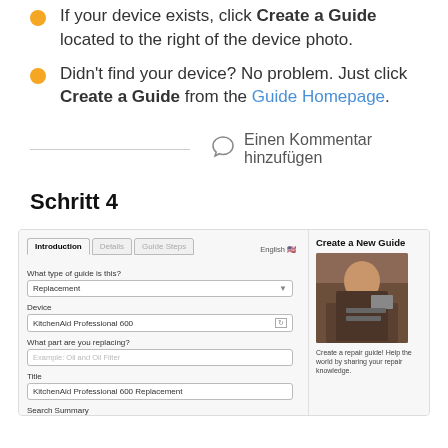If your device exists, click Create a Guide located to the right of the device photo.
Didn't find your device? No problem. Just click Create a Guide from the Guide Homepage.
Einen Kommentar hinzufügen
Schritt 4
[Figure (screenshot): Screenshot of 'Create a New Guide' form with tabs (Introduction, Details, Guide Steps), fields for guide type (Replacement), Device (KitchenAid Professional 600), part being replaced, Title, and Search Summary. On the right side, a 'Create a New Guide' panel with a photo of a person repairing a device and text 'Create a repair guide! Help the world by sharing your repair knowledge.']